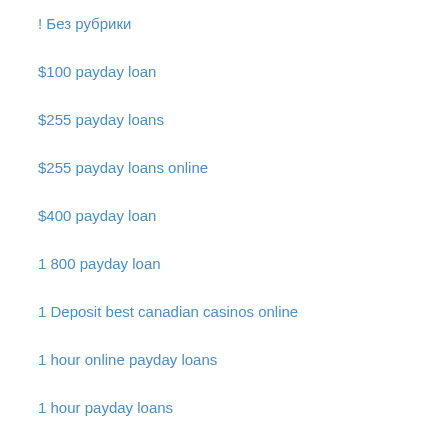! Без рубрики
$100 payday loan
$255 payday loans
$255 payday loans online
$400 payday loan
1 800 payday loan
1 Deposit best canadian casinos online
1 hour online payday loans
1 hour payday loans
1 hour payday loans no credit check
1 hr payday loans
100 approved payday loans
100 Bonus best canadian online casinos
100 payday loans
1000 payday loans